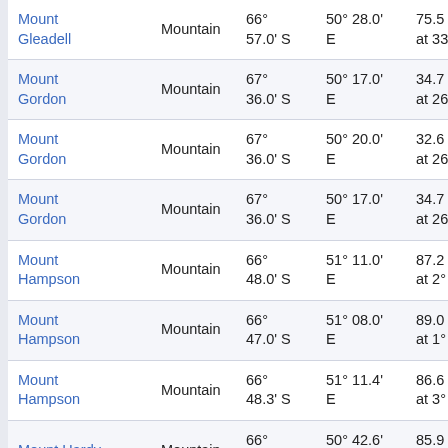| Name | Type | Latitude | Longitude | Distance |
| --- | --- | --- | --- | --- |
| Mount Gleadell | Mountain | 66° 57.0' S | 50° 28.0' E | 75.5 km at 339° |
| Mount Gordon | Mountain | 67° 36.0' S | 50° 17.0' E | 34.7 km at 267° |
| Mount Gordon | Mountain | 67° 36.0' S | 50° 20.0' E | 32.6 km at 266° |
| Mount Gordon | Mountain | 67° 36.0' S | 50° 17.0' E | 34.7 km at 267° |
| Mount Hampson | Mountain | 66° 48.0' S | 51° 11.0' E | 87.2 km at 2° |
| Mount Hampson | Mountain | 66° 47.0' S | 51° 08.0' E | 89.0 km at 1° |
| Mount Hampson | Mountain | 66° 48.3' S | 51° 11.4' E | 86.6 km at 3° |
| Mount Hardy | Mountain | 66° 49.5' S | 50° 42.6' E | 85.9 km at 349° |